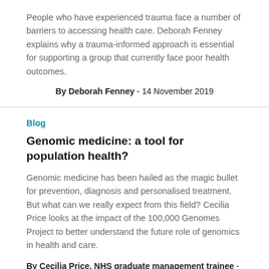People who have experienced trauma face a number of barriers to accessing health care. Deborah Fenney explains why a trauma-informed approach is essential for supporting a group that currently face poor health outcomes.
By Deborah Fenney - 14 November 2019
Blog
Genomic medicine: a tool for population health?
Genomic medicine has been hailed as the magic bullet for prevention, diagnosis and personalised treatment. But what can we really expect from this field? Cecilia Price looks at the impact of the 100,000 Genomes Project to better understand the future role of genomics in health and care.
By Cecilia Price, NHS graduate management trainee - 7 November 2019